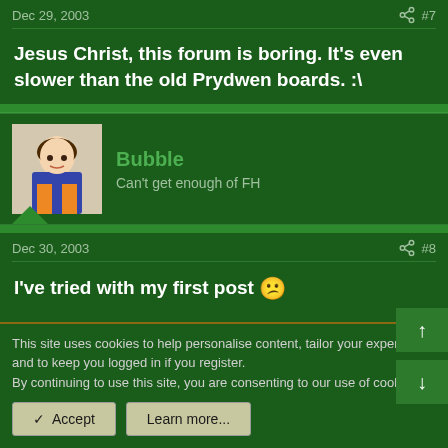Dec 29, 2003  #7
Jesus Christ, this forum is boring. It's even slower than the old Prydwen boards. :\
Bubble
Can't get enough of FH
Dec 30, 2003  #8
I've tried with my first post 😕
then didn't even respond to a Death Threat to Tilda :|
This site uses cookies to help personalise content, tailor your experience and to keep you logged in if you register.
By continuing to use this site, you are consenting to our use of cookies.